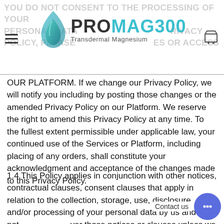YOU DO NOT CONSENT TO THE PROCESSING OF YOUR PERSONAL DATA ... PRIVACY POLICY, PLEASE ... ES OR ACCESS
OUR PLATFORM. If we change our Privacy Policy, we will notify you including by posting those changes or the amended Privacy Policy on our Platform. We reserve the right to amend this Privacy Policy at any time. To the fullest extent permissible under applicable law, your continued use of the Services or Platform, including placing of any orders, shall constitute your acknowledgment and acceptance of the changes made to this Privacy Policy.
1.4 This Policy applies in conjunction with other notices, contractual clauses, consent clauses that apply in relation to the collection, storage, use, disclosure and/or processing of your personal data by us and is not intended to override those notices or clauses unless we state expressly otherwise.